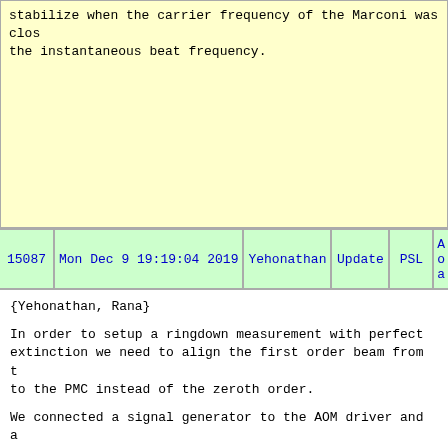stabilize when the carrier frequency of the Marconi was clos the instantaneous beat frequency.
| 15087 | Mon Dec 9 19:19:04 2019 | Yehonathan | Update | PSL | A o a |
| --- | --- | --- | --- | --- | --- |
{Yehonathan, Rana}
In order to setup a ringdown measurement with perfect extinction we need to align the first order beam from t to the PMC instead of the zeroth order.
We connected a signal generator to the AOM driver and a some offset voltage. We spot the first order mode and a to the PMC. The achieved transmitted power is roughly a was before this procedure.
Along the way few changes has been made in the PSL tabl
1. Some dangling BNCs were removed.
2. Laser on the south east side of the PSL table was tu off.